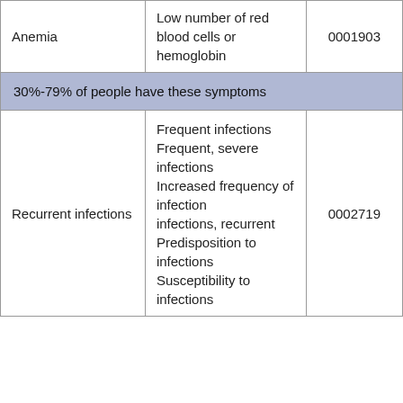|  |  |  |
| --- | --- | --- |
| Anemia | Low number of red blood cells or hemoglobin | 0001903 |
| 30%-79% of people have these symptoms |  |  |
| Recurrent infections | Frequent infections
Frequent, severe infections
Increased frequency of infection
infections, recurrent
Predisposition to infections
Susceptibility to infections | 0002719 |